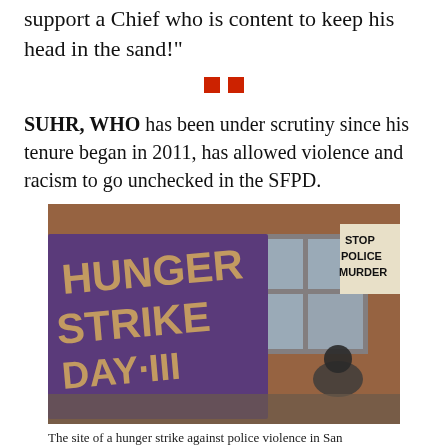support a Chief who is content to keep his head in the sand!"
[Figure (other): Two small red square decorative divider elements centered on page]
SUHR, WHO has been under scrutiny since his tenure began in 2011, has allowed violence and racism to go unchecked in the SFPD.
[Figure (photo): Photo of a hunger strike protest site showing a large purple banner reading 'HUNGER STRIKE DAY III' and a sign reading 'STOP POLICE MURDER' on a building wall, with a person sitting nearby.]
The site of a hunger strike against police violence in San Francisco's Mission District (Ares Geovanos |